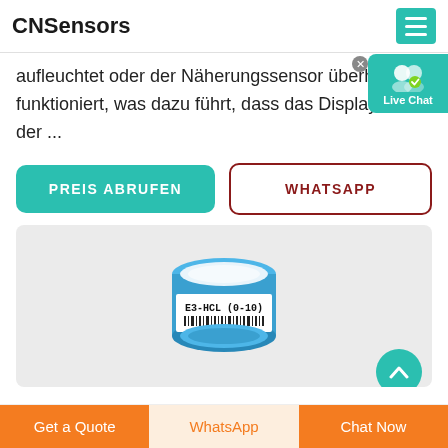CNSensors
aufleuchtet oder der Näherungssensor überhaupt n funktioniert, was dazu führt, dass das Display währe der ...
PREIS ABRUFEN
WHATSAPP
[Figure (photo): A small cylindrical gas sensor with a blue ring on top and a label reading 'E3-HCL (0-10)' with a barcode and 'SK01D1-0001' below it. Background is light grey.]
Get a Quote | WhatsApp | Chat Now